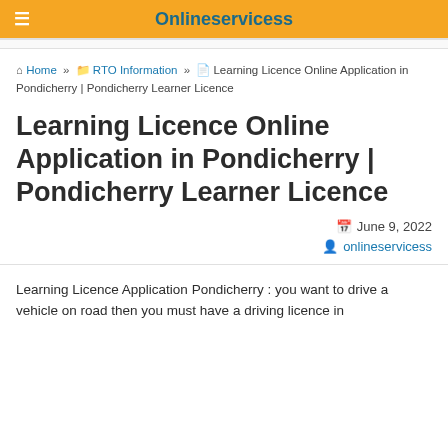Onlineservicess
Home » RTO Information » Learning Licence Online Application in Pondicherry | Pondicherry Learner Licence
Learning Licence Online Application in Pondicherry | Pondicherry Learner Licence
June 9, 2022
onlineservicess
Learning Licence Application Pondicherry : you want to drive a vehicle on road then you must have a driving licence in